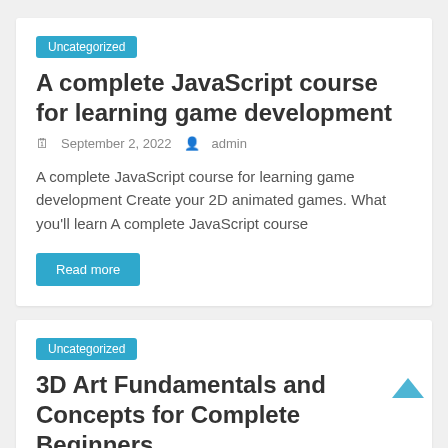Uncategorized
A complete JavaScript course for learning game development
September 2, 2022  admin
A complete JavaScript course for learning game development Create your 2D animated games. What you'll learn A complete JavaScript course
Read more
Uncategorized
3D Art Fundamentals and Concepts for Complete Beginners
September 2, 2022  admin